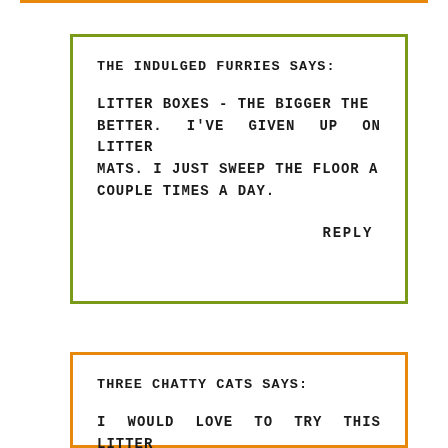THE INDULGED FURRIES SAYS:

LITTER BOXES - THE BIGGER THE BETTER. I'VE GIVEN UP ON LITTER MATS. I JUST SWEEP THE FLOOR A COUPLE TIMES A DAY.

REPLY
THREE CHATTY CATS SAYS:

I WOULD LOVE TO TRY THIS LITTER BOX. I LOOKED AFTER READING